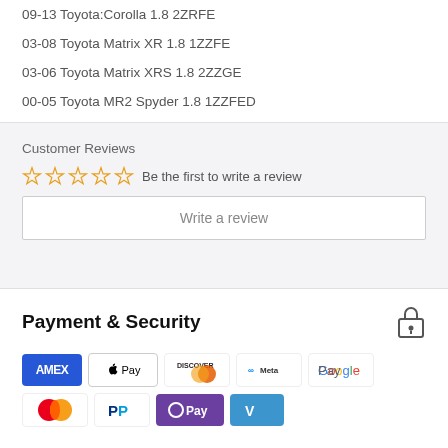09-13 Toyota:Corolla 1.8 2ZRFE
03-08 Toyota Matrix XR 1.8 1ZZFE
03-06 Toyota Matrix XRS 1.8 2ZZGE
00-05 Toyota MR2 Spyder 1.8 1ZZFED
Customer Reviews
Be the first to write a review
Write a review
Payment & Security
[Figure (infographic): Payment method icons: AMEX, Apple Pay, Discover, Meta Pay, Google Pay, Mastercard, PayPal, OPay, Venmo]